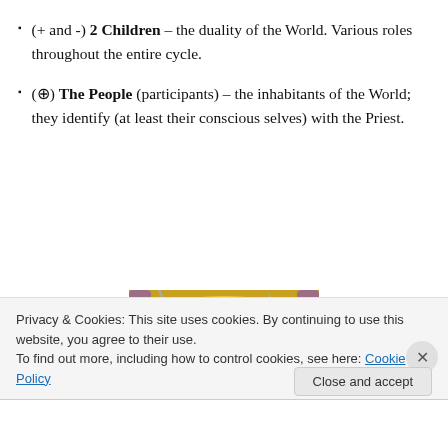(+ and -) 2 Children – the duality of the World. Various roles throughout the entire cycle.
(⊕) The People (participants) – the inhabitants of the World; they identify (at least their conscious selves) with the Priest.
[Figure (illustration): Art Nouveau style illustration of a woman in a white hood/shawl surrounded by winter foliage, with decorative golden arch border and purple ornamental corners.]
Privacy & Cookies: This site uses cookies. By continuing to use this website, you agree to their use.
To find out more, including how to control cookies, see here: Cookie Policy